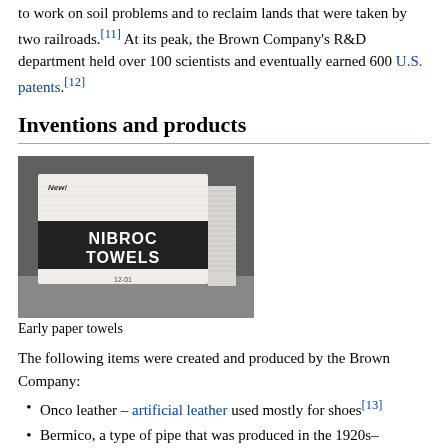to work on soil problems and to reclaim lands that were taken by two railroads.[11] At its peak, the Brown Company's R&D department held over 100 scientists and eventually earned 600 U.S. patents.[12]
Inventions and products
[Figure (photo): Black and white photograph of a stack of Nibroc Towels paper towel package]
Early paper towels
The following items were created and produced by the Brown Company:
Onco leather – artificial leather used mostly for shoes[13]
Bermico, a type of pipe that was produced in the 1920s–1970s[14]